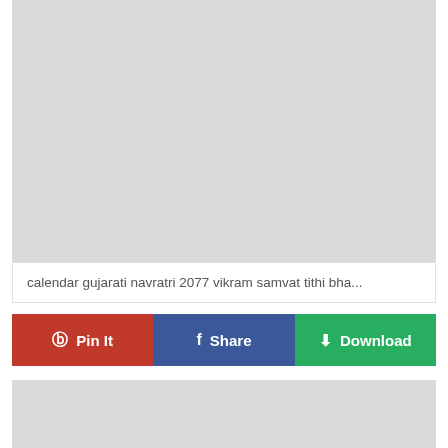[Figure (other): Gray placeholder image area at top of page]
calendar gujarati navratri 2077 vikram samvat tithi bha...
Pin It | Share | Download
[Figure (other): Gray placeholder image area at bottom of page]